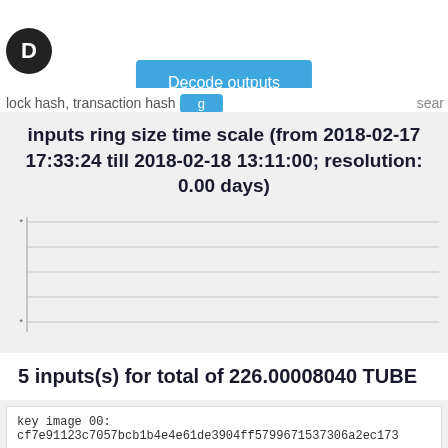[Figure (screenshot): Logo circle with letter D on the left side of the top navigation bar]
Decode outputs
lock hash, transaction hash
sear
inputs ring size time scale (from 2018-02-17 17:33:24 till 2018-02-18 13:11:00; resolution: 0.00 days)
[Figure (line-chart): Line chart showing inputs ring size time scale from 2018-02-17 17:33:24 till 2018-02-18 13:11:00, resolution 0.00 days. Multiple horizontal lines visible on a light gray background.]
5 inputs(s) for total of 226.00008040 TUBE
key image 00: cf7e91123c7057bcb1b4e4e61de3904ff5799671537306a2ec173
| ring members |
| --- |
| - 00: |
| 22f50c0c7eec61b8201bfe56742b1374148a53d977c53ff98f499c91336ec4c5 |